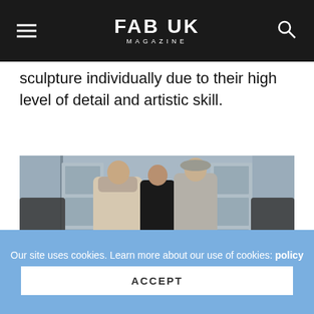FAB UK MAGAZINE
sculpture individually due to their high level of detail and artistic skill.
[Figure (photo): Three figures on a fashion runway — two models and a designer walking together. Left model wears a textured cream/beige open coat with loose trousers and white boots. Center figure is the designer dressed in all black. Right model wears a sleeveless grey high-neck asymmetric dress with white trousers. Audience seated on both sides. Blue/grey architectural backdrop with ornate doors.]
Our site uses cookies. Learn more about our use of cookies: policy
ACCEPT